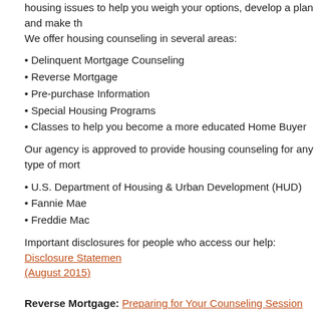housing issues to help you weigh your options, develop a plan and make th… We offer housing counseling in several areas:
• Delinquent Mortgage Counseling
• Reverse Mortgage
• Pre-purchase Information
• Special Housing Programs
• Classes to help you become a more educated Home Buyer
Our agency is approved to provide housing counseling for any type of mort…
• U.S. Department of Housing & Urban Development (HUD)
• Fannie Mae
• Freddie Mac
Important disclosures for people who access our help: Disclosure Statement (August 2015)
Reverse Mortgage: Preparing for Your Counseling Session (HECM ha…
A reverse mortgage allows older homeowners to tap into the equity that the… mortgage, you may borrow against the value of the home and receive loan… payment plan. The loan need not be repaid as long as the home remains th… homeowners must be at least 62 years old and the home must be paid off…